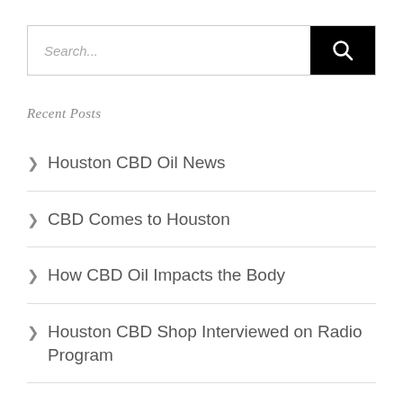[Figure (other): Search bar with text input showing placeholder 'Search...' and a black button with a magnifying glass icon]
Recent Posts
Houston CBD Oil News
CBD Comes to Houston
How CBD Oil Impacts the Body
Houston CBD Shop Interviewed on Radio Program
Legality of CBD Products in Texas